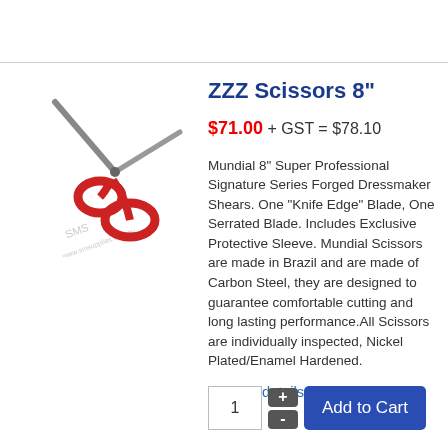[Figure (photo): Product image of scissors with red handles (ZZZ Scissors 8 inch) on white background with watermark]
ZZZ Scissors 8"
$71.00 + GST = $78.10
Mundial 8" Super Professional Signature Series Forged Dressmaker Shears. One "Knife Edge" Blade, One Serrated Blade. Includes Exclusive Protective Sleeve. Mundial Scissors are made in Brazil and are made of Carbon Steel, they are designed to guarantee comfortable cutting and long lasting performance.All Scissors are individually inspected, Nickel Plated/Enamel Hardened.
Product details